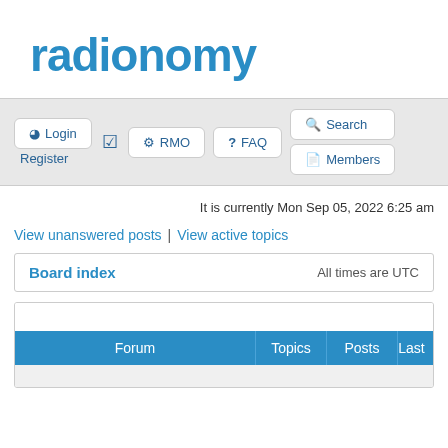radionomy
Login  Register  RMO  FAQ  Search  Members
It is currently Mon Sep 05, 2022 6:25 am
View unanswered posts | View active topics
| Board index | All times are UTC |
| --- | --- |
| Forum | Topics | Posts | Last |
| --- | --- | --- | --- |